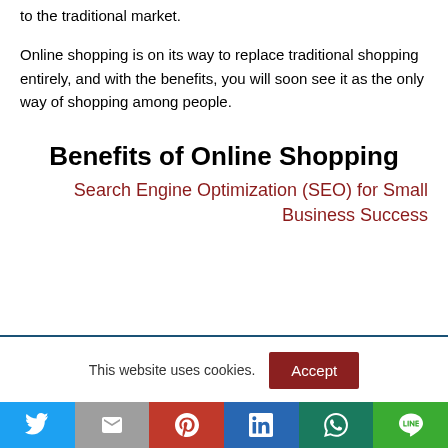to the traditional market.
Online shopping is on its way to replace traditional shopping entirely, and with the benefits, you will soon see it as the only way of shopping among people.
Benefits of Online Shopping
Search Engine Optimization (SEO) for Small Business Success
This website uses cookies.
Social share bar: Twitter, Gmail, Pinterest, LinkedIn, WhatsApp, Line